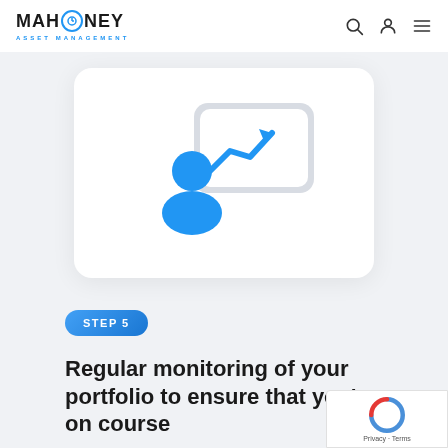MAHONEY ASSET MANAGEMENT
[Figure (illustration): Icon of a person with a rising trend chart/graph on a presentation board, colored in blue and light grey, inside a white rounded card]
STEP 5
Regular monitoring of your portfolio to ensure that you're on course